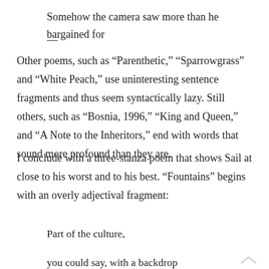Somehow the camera saw more than he bargained for
—
Other poems, such as “Parenthetic,” “Sparrowgrass” and “White Peach,” use uninteresting sentence fragments and thus seem syntactically lazy. Still others, such as “Bosnia, 1996,” “King and Queen,” and “A Note to the Inheritors,” end with words that sound more profound than they are.
I conclude with a three-stanza poem that shows Sail at close to his worst and to his best. “Fountains” begins with an overly adjectival fragment:
Part of the culture,
you could say, with a backdrop
of lavish palaces,
triumphalist boulevards,
extravagant gardens,